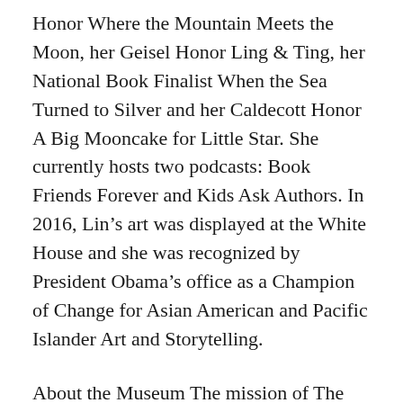Honor Where the Mountain Meets the Moon, her Geisel Honor Ling & Ting, her National Book Finalist When the Sea Turned to Silver and her Caldecott Honor A Big Mooncake for Little Star. She currently hosts two podcasts: Book Friends Forever and Kids Ask Authors. In 2016, Lin's art was displayed at the White House and she was recognized by President Obama's office as a Champion of Change for Asian American and Pacific Islander Art and Storytelling.
About the Museum The mission of The Eric Carle Museum of Picture Book Art, a non-profit organization in Amherst, MA, is to inspire a love of art and reading through picture books. A leading advocate in its field, The Carle collects, preserves, presents, and celebrates picture books and picture-book illustrations from